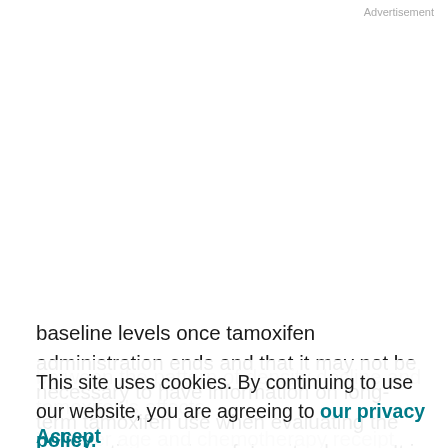Advertisement
baseline levels once tamoxifen administration ends and that it may not be necessary to have information on long-term tamoxifen use when evaluating the prognostic meaning of density change. It is unclear why density did not continue to decline among women taking tamoxifen for ≥4 years. Research investigating the biologic mechanisms involved are necessary to understand the relationship between the pattern of density decline and tamoxifen's effects.
Younger age and chemotherapy receipt showed weak,
This site uses cookies. By continuing to use our website, you are agreeing to our privacy policy. Accept